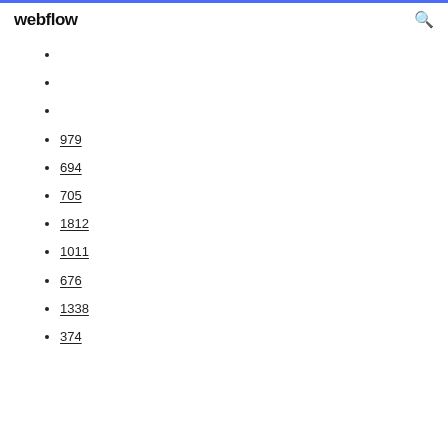webflow
979
694
705
1812
1011
676
1338
374